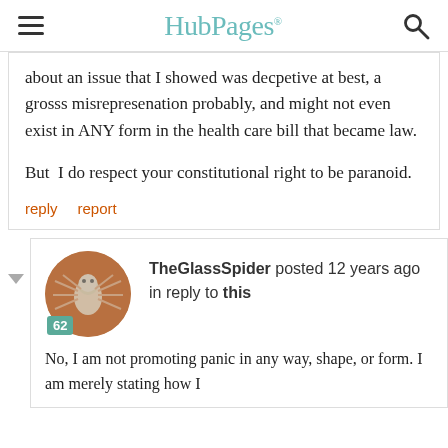HubPages
about an issue that I showed was decpetive at best, a grosss misrepresenation probably, and might not even exist in ANY form in the health care bill that became law.

But  I do respect your constitutional right to be paranoid.
reply   report
[Figure (photo): Avatar image of TheGlassSpider — a circular photo of a spider on a reddish-brown surface, with a badge showing '62']
TheGlassSpider posted 12 years ago in reply to this
No, I am not promoting panic in any way, shape, or form.  I am merely stating how I...